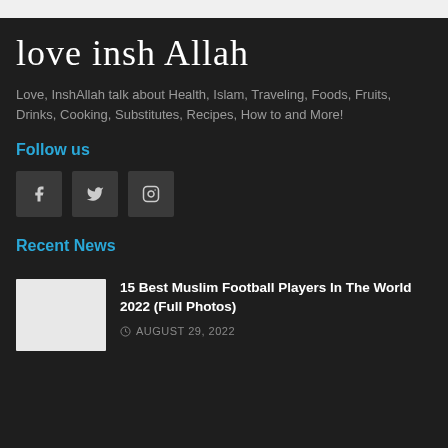love insh Allah
Love, InshAllah talk about Health, Islam, Traveling, Foods, Fruits, Drinks, Cooking, Substitutes, Recipes, How to and More!
Follow us
[Figure (illustration): Three social media icon buttons: Facebook (f), Twitter (bird), Instagram (camera)]
Recent News
[Figure (photo): Thumbnail image placeholder for article about Muslim Football Players]
15 Best Muslim Football Players In The World 2022 (Full Photos)
AUGUST 29, 2022